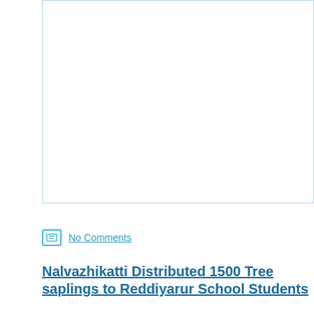[Figure (photo): Top image box, partially visible, with light blue border]
No Comments
Nalvazhikatti Distributed 1500 Tree saplings to Reddiyarur School Students
Nalvazhikatti Distributed 1500 Tree saplings to Reddiyarur School Students on 1
[Figure (photo): Bottom image box with broken image icon, partially visible]